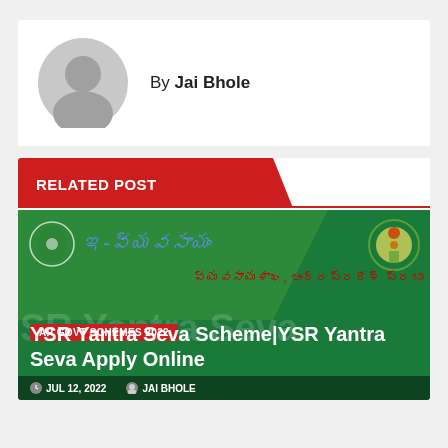By Jai Bhole
RELATED POST
[Figure (illustration): YSR Yantra Seva Scheme post thumbnail with Andhra Pradesh government branding, green background, Telugu text, government logos, AP GOVT SCHEMES 2022 badge]
YSR Yantra Seva Scheme|YSR Yantra Seva Apply Online
JUL 12, 2022   JAI BHOLE